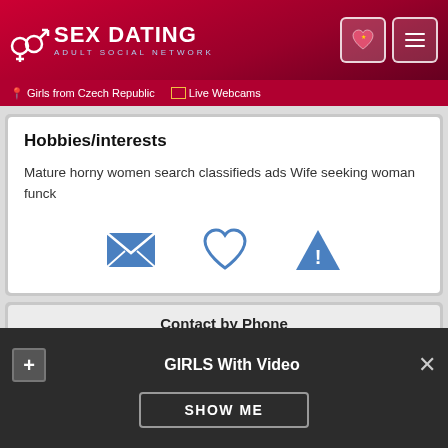SEX DATING ADULT SOCIAL NETWORK — Girls from Czech Republic | Live Webcams
Hobbies/interests
Mature horny women search classifieds ads Wife seeking woman funck
[Figure (infographic): Three blue icons: envelope (message), heart (like/favorite), triangle warning (report)]
Contact by Phone
GIRLS With Video
SHOW ME